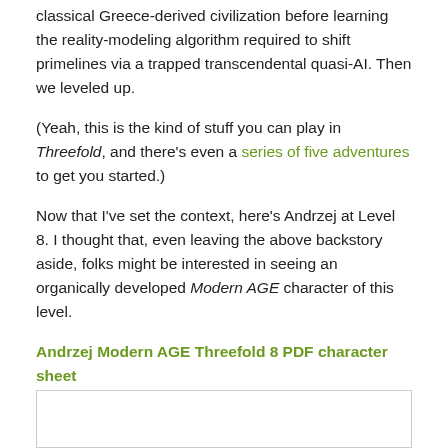classical Greece-derived civilization before learning the reality-modeling algorithm required to shift primelines via a trapped transcendental quasi-AI. Then we leveled up.
(Yeah, this is the kind of stuff you can play in Threefold, and there's even a series of five adventures to get you started.)
Now that I've set the context, here's Andrzej at Level 8. I thought that, even leaving the above backstory aside, folks might be interested in seeing an organically developed Modern AGE character of this level.
Andrzej Modern AGE Threefold 8 PDF character sheet
Author
[Figure (other): Empty author box / author card placeholder]